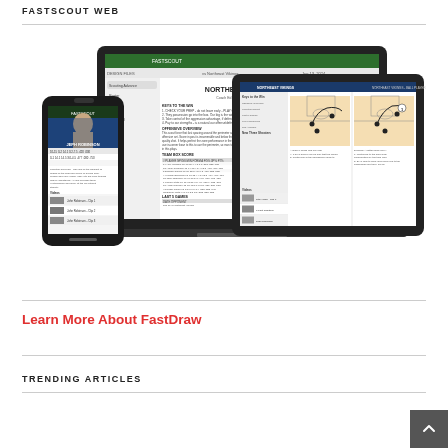FASTSCOUT WEB
[Figure (screenshot): Screenshot showing the Fastscout Web application displayed on multiple devices: a smartphone on the left showing player scouting data, a laptop/MacBook Pro in the center showing a Northeast Vikings scouting report, and a tablet/iPad on the right showing team video and play diagrams.]
Learn More About FastDraw
TRENDING ARTICLES